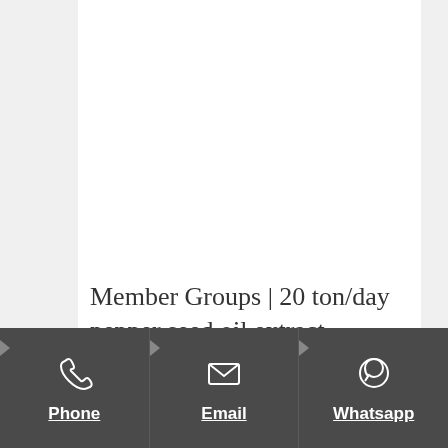Member Groups | 20 ton/day pepper seed oil extract
Phone
Email
Whatsapp